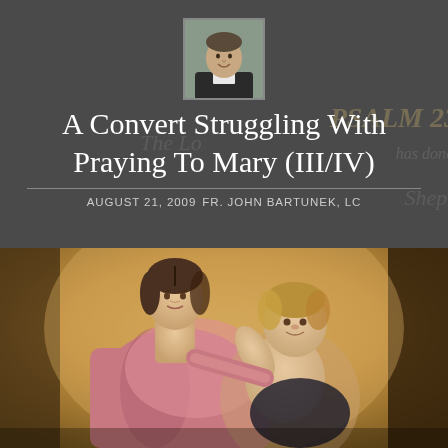[Figure (photo): Small square headshot of Fr. John Bartunek, a man in clerical collar, smiling, black and white photo style]
A Convert Struggling With Praying To Mary (III/IV)
AUGUST 21, 2009   FR. JOHN BARTUNEK, LC
[Figure (photo): Classical painting of the Virgin Mary holding the Christ child. Mary has light skin, dark hair, wearing a pink/rose garment. The child Jesus is depicted as a toddler. Background is a warm golden/tan color. This appears to be a Renaissance or Baroque style painting.]